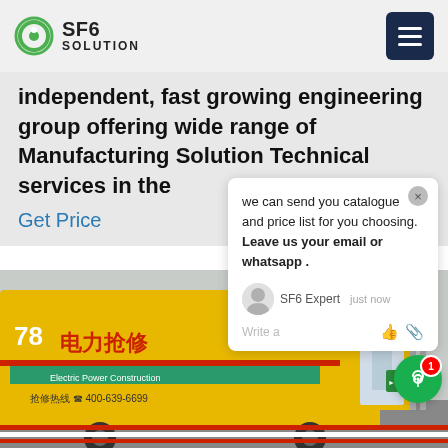SF6 SOLUTION
independent, fast growing engineering group offering wide range of Manufacturing Solution Technical services in the
Get Price
we can send you catalogue and price list for you choosing.
Leave us your email or whatsapp .
SF6 Expert    just now
Write a
[Figure (photo): Yellow electric power utility truck with Chinese text and phone number 400-639-6699, parked at an industrial substation]